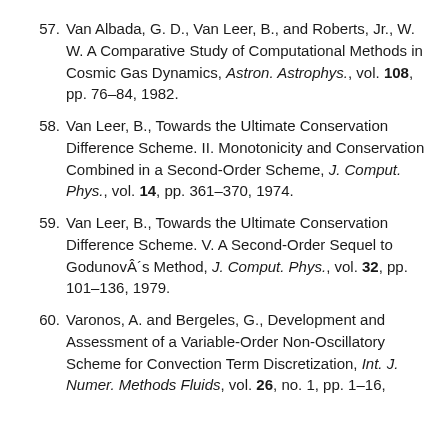57. Van Albada, G. D., Van Leer, B., and Roberts, Jr., W. W. A Comparative Study of Computational Methods in Cosmic Gas Dynamics, Astron. Astrophys., vol. 108, pp. 76–84, 1982.
58. Van Leer, B., Towards the Ultimate Conservation Difference Scheme. II. Monotonicity and Conservation Combined in a Second-Order Scheme, J. Comput. Phys., vol. 14, pp. 361–370, 1974.
59. Van Leer, B., Towards the Ultimate Conservation Difference Scheme. V. A Second-Order Sequel to Godunov's Method, J. Comput. Phys., vol. 32, pp. 101–136, 1979.
60. Varonos, A. and Bergeles, G., Development and Assessment of a Variable-Order Non-Oscillatory Scheme for Convection Term Discretization, Int. J. Numer. Methods Fluids, vol. 26, no. 1, pp. 1–16,